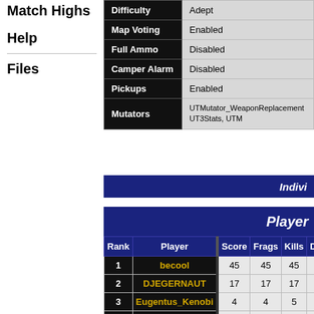Match Highs
Help
Files
| Setting | Value |
| --- | --- |
| Difficulty | Adept |
| Map Voting | Enabled |
| Full Ammo | Disabled |
| Camper Alarm | Disabled |
| Pickups | Enabled |
| Mutators | UTMutator_WeaponReplacement UT3Stats, UTM... |
Indivi
| Rank | Player |  | Score | Frags | Kills | Deat |
| --- | --- | --- | --- | --- | --- | --- |
| 1 | becool |  | 45 | 45 | 45 | 10 |
| 2 | DJEGERNAUT |  | 17 | 17 | 17 | 18 |
| 3 | Eugentus_Kenobi |  | 4 | 4 | 5 | 18 |
| 4 | Dr.STOP-ka |  | 3 | 3 | 3 | 14 |
| 5 | □ poebot |  | 0 | 0 | 1 | 11 |
| Totals |  |  | 69 | 69 | 71 | 71 |